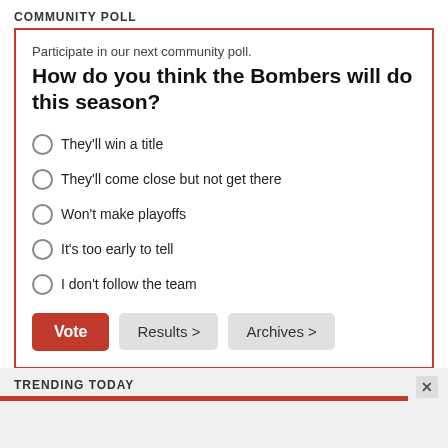COMMUNITY POLL
Participate in our next community poll.
How do you think the Bombers will do this season?
They'll win a title
They'll come close but not get there
Won't make playoffs
It's too early to tell
I don't follow the team
TRENDING TODAY